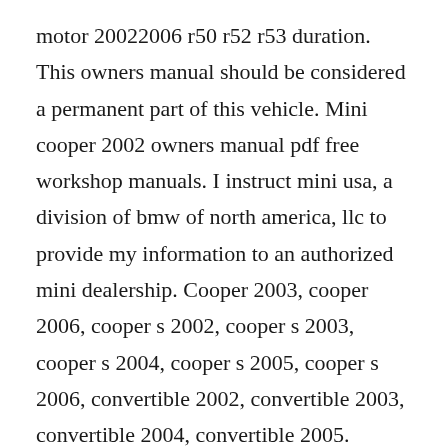motor 20022006 r50 r52 r53 duration. This owners manual should be considered a permanent part of this vehicle. Mini cooper 2002 owners manual pdf free workshop manuals. I instruct mini usa, a division of bmw of north america, llc to provide my information to an authorized mini dealership. Cooper 2003, cooper 2006, cooper s 2002, cooper s 2003, cooper s 2004, cooper s 2005, cooper s 2006, convertible 2002, convertible 2003, convertible 2004, convertible 2005.
This webpage contains mini cooper 2002